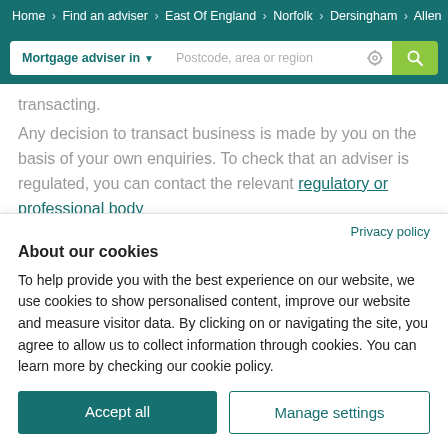Home > Find an adviser > East Of England > Norfolk > Dersingham > Allen
[Figure (screenshot): Search bar with 'Mortgage adviser in' dropdown and 'Postcode, area or region' input field with location icon and green search button]
transacting.
Any decision to transact business is made by you on the basis of your own enquiries. To check that an adviser is regulated, you can contact the relevant regulatory or professional body
Privacy policy
About our cookies
To help provide you with the best experience on our website, we use cookies to show personalised content, improve our website and measure visitor data. By clicking on or navigating the site, you agree to allow us to collect information through cookies. You can learn more by checking our cookie policy.
Accept all
Manage settings